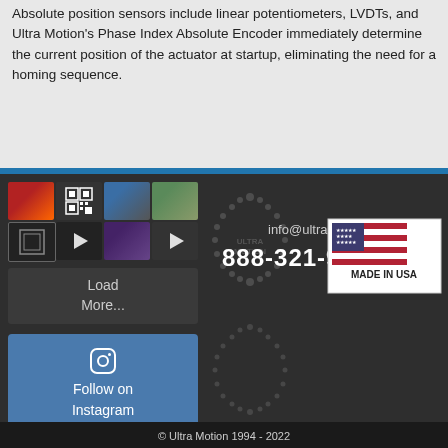Absolute position sensors include linear potentiometers, LVDTs, and Ultra Motion's Phase Index Absolute Encoder immediately determine the current position of the actuator at startup, eliminating the need for a homing sequence.
[Figure (screenshot): Instagram photo grid with 8 thumbnails showing various images and videos with play buttons]
Load More...
Follow on Instagram
[Figure (logo): Ultra Motion watermark logo in dark section background]
info@ultramotion.com
888-321-9178
[Figure (illustration): Made in USA flag badge with American flag graphic]
© Ultra Motion 1994 - 2022